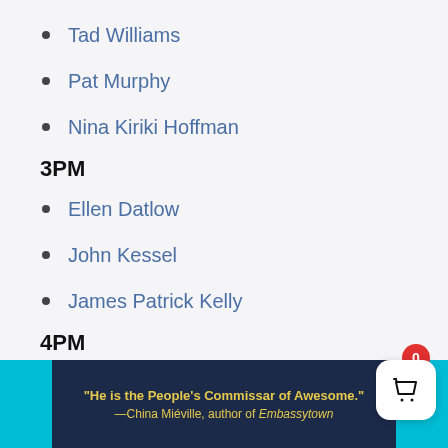Tad Williams
Pat Murphy
Nina Kiriki Hoffman
3PM
Ellen Datlow
John Kessel
James Patrick Kelly
4PM
Cory Doctorow
[Figure (other): Bottom banner with dark navy background and cyan side bars. Yellow text reads: "He is the People's Commissar of Awesome." —China Miéville, author of Embassytown]